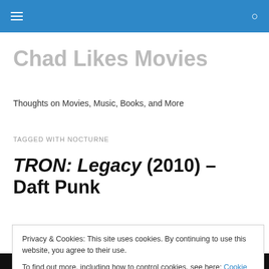Chad Likes Movies – navigation bar
Chad Likes Movies
Thoughts on Movies, Music, Books, and More
TAGGED WITH NOCTURNE
TRON: Legacy (2010) – Daft Punk
Privacy & Cookies: This site uses cookies. By continuing to use this website, you agree to their use.
To find out more, including how to control cookies, see here: Cookie Policy
Close and accept